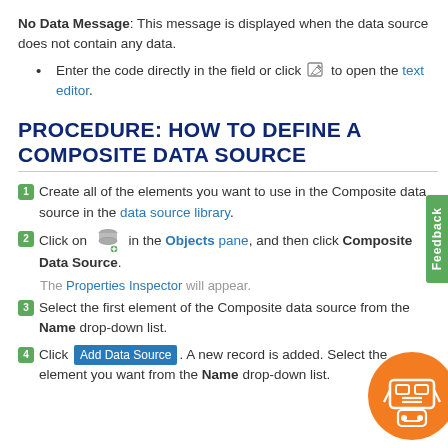No Data Message: This message is displayed when the data source does not contain any data.
Enter the code directly in the field or click [icon] to open the text editor.
PROCEDURE: HOW TO DEFINE A COMPOSITE DATA SOURCE
1. Create all of the elements you want to use in the Composite data source in the data source library.
2. Click on [database icon] in the Objects pane, and then click Composite Data Source.
The Properties Inspector will appear.
3. Select the first element of the Composite data source from the Name drop-down list.
4. Click Add Data Source. A new record is added. Select the element you want from the Name drop-down list.